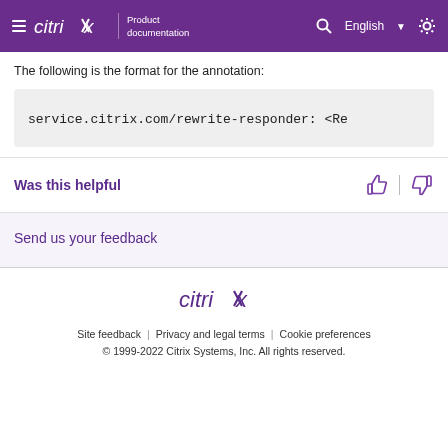citrix Product documentation
The following is the format for the annotation:
Was this helpful
Send us your feedback
Site feedback | Privacy and legal terms | Cookie preferences
© 1999-2022 Citrix Systems, Inc. All rights reserved.